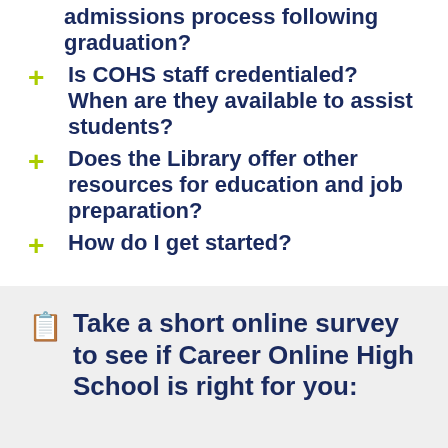admissions process following graduation?
Is COHS staff credentialed? When are they available to assist students?
Does the Library offer other resources for education and job preparation?
How do I get started?
Take a short online survey to see if Career Online High School is right for you: